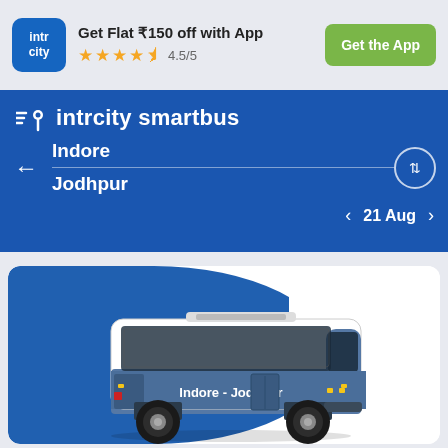[Figure (screenshot): IntrCity app promotional banner showing logo, flat ₹150 off offer, 4.5/5 star rating, and Get the App button]
Get Flat ₹150 off with App
4.5/5
Get the App
[Figure (logo): intrcity smartbus logo with pin/location icon and speed lines]
Indore
Jodhpur
21 Aug
[Figure (illustration): Blue and white intercity bus illustration labeled Indore - Jodhpur on a card with blue background]
Trip Overview